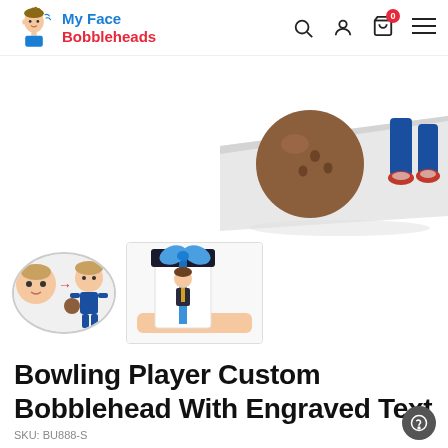[Figure (logo): My Face Bobbleheads logo with cartoon bobblehead character icon, blue and red text]
[Figure (screenshot): Navigation bar with search, user, cart (0), and hamburger menu icons]
[Figure (photo): Close-up product photo of bowling player custom bobblehead showing brown bowling ball and blue-suited figure legs on white base]
[Figure (photo): Thumbnail: photo showing child face next to finished bobblehead figurine in blue outfit with red arrow]
[Figure (photo): Thumbnail: photo showing bobblehead in gift box with blue ribbon bow]
Bowling Player Custom Bobblehead With Engraved Text
SKU: BU888-S